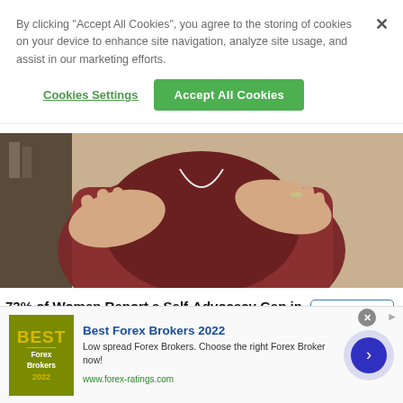By clicking "Accept All Cookies", you agree to the storing of cookies on your device to enhance site navigation, analyze site usage, and assist in our marketing efforts.
Cookies Settings
Accept All Cookies
[Figure (photo): A person in a burgundy/dark red outfit with hands spread open across their chest, wearing earphones. Partial view, shot from mid-torso up.]
73% of Women Report a Self-Advocacy Gap in the Workplace
Indeed
[Figure (photo): Blurred street/outdoor photo strip showing partial urban scene.]
[Figure (other): Advertisement for Best Forex Brokers 2022 with logo, description text, URL, and navigation arrow button.]